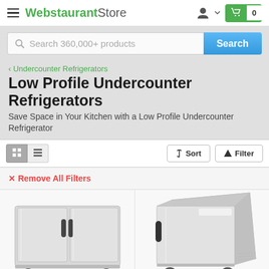WebstaurantStore — navigation header with hamburger menu, logo, user icon, and cart (0 items)
Search 360,000+ products
‹ Undercounter Refrigerators
Low Profile Undercounter Refrigerators
Save Space in Your Kitchen with a Low Profile Undercounter Refrigerator
Sort  Filter  — toolbar with grid/list view toggle
✕ Remove All Filters
[Figure (photo): Two-door stainless steel undercounter refrigerator on casters]
[Figure (photo): Single-door stainless steel undercounter refrigerator on casters]
115 VOLTS
115 VOLTS